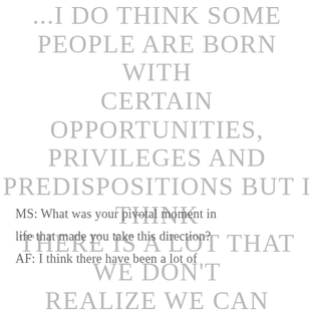...I DO THINK SOME PEOPLE ARE BORN WITH CERTAIN OPPORTUNITIES, PRIVILEGES AND PREDISPOSITIONS BUT I THINK THERE IS A LOT THAT WE DON'T REALIZE WE CAN ACHIEVE BECAUSE PEOPLE DON'T OPEN THEMSELVES TO THINKING CREATIVELY."
MS: What was your pivotal moment in life that made you take this direction? AF: I think there have been a lot of